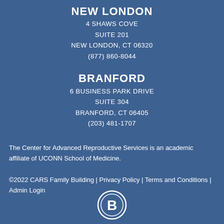NEW LONDON
4 SHAWS COVE
SUITE 201
NEW LONDON, CT 06320
(877) 860-8044
BRANFORD
6 BUSINESS PARK DRIVE
SUITE 304
BRANFORD, CT 06405
(203) 481-1707
The Center for Advanced Reproductive Services is an academic affiliate of UCONN School of Medicine.
©2022 CARS Family Building | Privacy Policy | Terms and Conditions | Admin Login
[Figure (logo): Circular logo with letter B in the center, white outline on blue background]